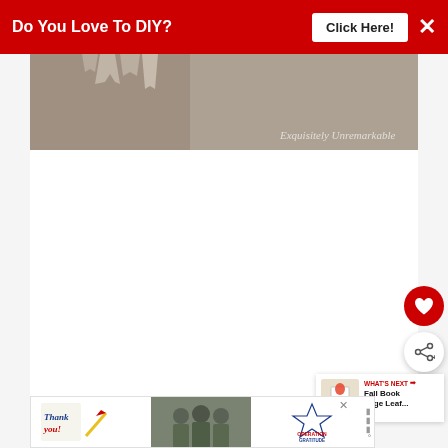[Figure (screenshot): Red promotional banner with text 'Do You Love To DIY?' and a white 'Click Here!' button and an X close icon]
[Figure (photo): Cave interior photo showing stalactites and rock formations with text 'Exquisitely Unremarkable' watermark]
[Figure (screenshot): White content area with a floating red heart favorite button and a white share button with social share icon]
[Figure (screenshot): "WHAT'S NEXT" widget with thumbnail and text 'Fall Book Page Leaf...']
[Figure (screenshot): Bottom advertisement banner with 'Thank you!' text and Operation Gratitude military appreciation ad]